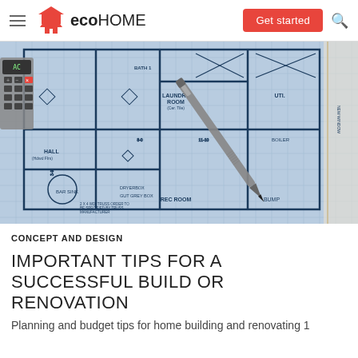eco HOME — Get started
[Figure (photo): Architectural blueprint/floor plan drawing with a mechanical pencil and calculator visible on top, blue-tinted technical drawing showing rooms including HALL, LAUNDRY ROOM, REC ROOM, BAR SINK, DRYERBOX, and structural notes.]
CONCEPT AND DESIGN
IMPORTANT TIPS FOR A SUCCESSFUL BUILD OR RENOVATION
Planning and budget tips for home building and renovating 1